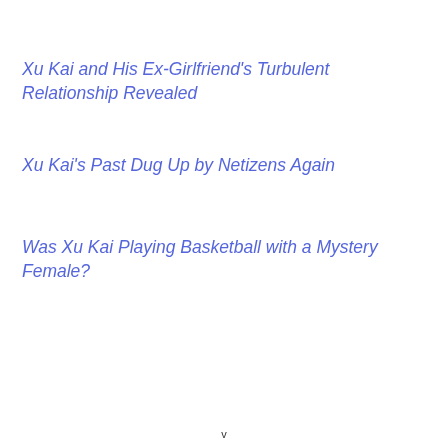Xu Kai and His Ex-Girlfriend's Turbulent Relationship Revealed
Xu Kai's Past Dug Up by Netizens Again
Was Xu Kai Playing Basketball with a Mystery Female?
v